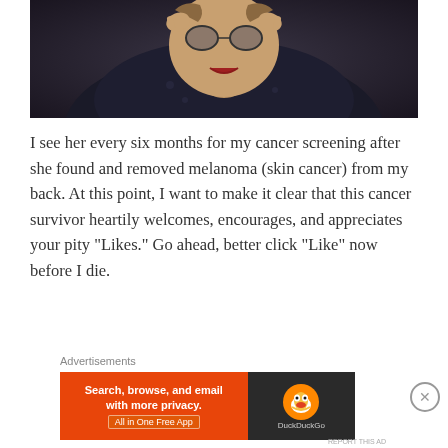[Figure (photo): Close-up photo of a person wearing dark clothing with light spots/pattern, touching their ears/head area, wearing lipstick, with a dark background]
I see her every six months for my cancer screening after she found and removed melanoma (skin cancer) from my back. At this point, I want to make it clear that this cancer survivor heartily welcomes, encourages, and appreciates your pity “Likes.” Go ahead, better click “Like” now before I die.
Advertisements
[Figure (screenshot): DuckDuckGo advertisement banner: orange left side reading 'Search, browse, and email with more privacy. All in One Free App' and dark right side with DuckDuckGo duck logo]